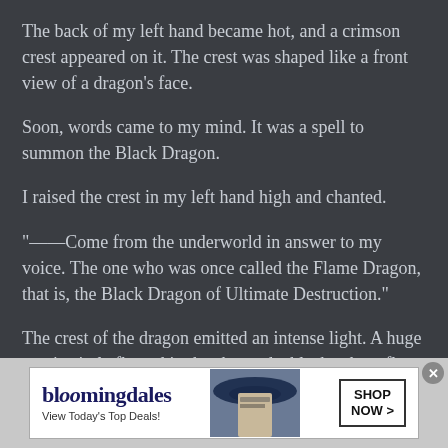The back of my left hand became hot, and a crimson crest appeared on it. The crest was shaped like a front view of a dragon’s face.
Soon, words came to my mind. It was a spell to summon the Black Dragon.
I raised the crest in my left hand high and chanted.
“——Come from the underworld in answer to my voice. The one who was once called the Flame Dragon, that is, the Black Dragon of Ultimate Destruction.”
The crest of the dragon emitted an intense light. A huge magic circle floated in the sky, and a black sphere flew
[Figure (infographic): Bloomingdale's advertisement banner. Shows the Bloomingdale's logo, tagline 'View Today’s Top Deals!', an image of a woman in a wide-brimmed hat, and a 'SHOP NOW >' button.]